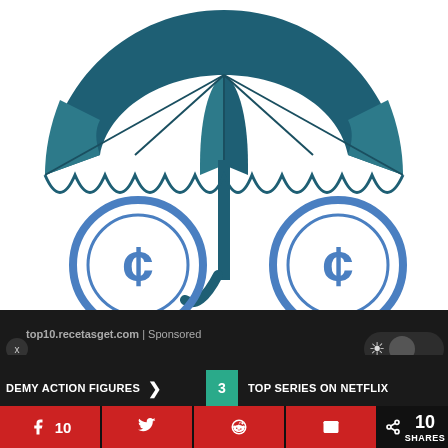[Figure (illustration): Illustration of a dark teal umbrella covering two blue coin/cent symbols on a white background, representing insurance or financial protection.]
top10.recetasget.com | Sponsored
[Figure (other): Dark themed UI area with a close (x) button and a light/dark mode toggle button.]
DEMY ACTION FIGURES > 3 TOP SERIES ON NETFLIX
Facebook 10  Twitter  Reddit  Email  < 10 SHARES